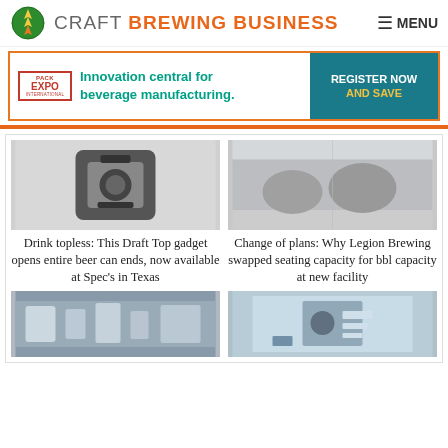CRAFT BREWING BUSINESS  MENU
[Figure (illustration): Pack Expo International advertisement banner: Innovation central for beverage manufacturing. Register Now and Save.]
[Figure (photo): Draft Top gadget device shown against white background]
Drink topless: This Draft Top gadget opens entire beer can ends, now available at Spec's in Texas
[Figure (photo): Brewery interior with large tanks and equipment]
Change of plans: Why Legion Brewing swapped seating capacity for bbl capacity at new facility
[Figure (photo): Canning line machinery in brewery]
[Figure (photo): Person at trade show booth with WIN sign]